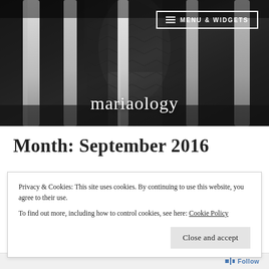[Figure (photo): Black and white photo of tree trunks in a park or forest setting, with foliage visible in the background.]
≡ MENU & WIDGETS
mariaology
Month: September 2016
Privacy & Cookies: This site uses cookies. By continuing to use this website, you agree to their use.
To find out more, including how to control cookies, see here: Cookie Policy
Close and accept